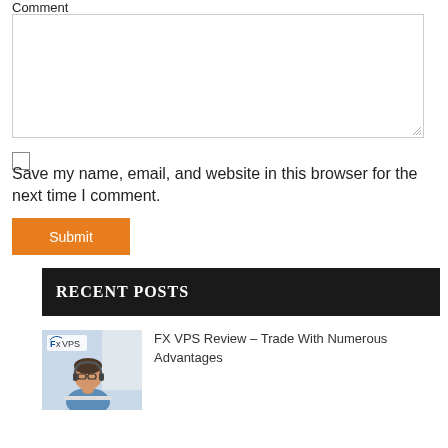Comment
Save my name, email, and website in this browser for the next time I comment.
Submit
RECENT POSTS
[Figure (photo): Man with glasses and headphones looking at a laptop, with FXVPS logo overlay]
FX VPS Review – Trade With Numerous Advantages